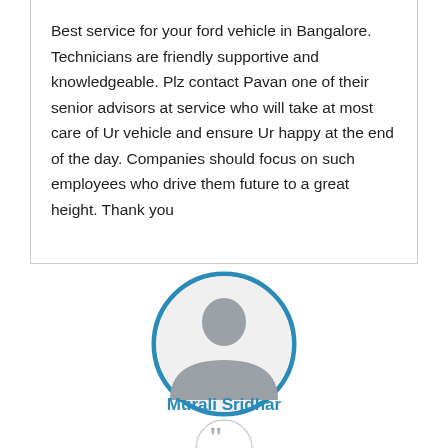Best service for your ford vehicle in Bangalore. Technicians are friendly supportive and knowledgeable. Plz contact Pavan one of their senior advisors at service who will take at most care of Ur vehicle and ensure Ur happy at the end of the day. Companies should focus on such employees who drive them future to a great height. Thank you
[Figure (illustration): Circular avatar icon with teal/blue border showing a generic grey female silhouette profile placeholder]
Murali Sridhar
[Figure (illustration): Partial circular quotation mark icon at bottom of page]